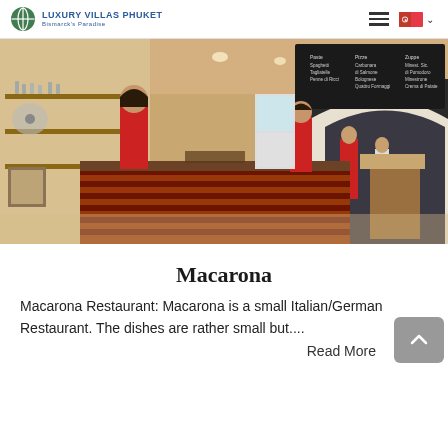Luxury Villas Phuket — Bismarck's Paradise
[Figure (photo): Interior of Macarona Italian/German Restaurant in Phuket. Two staff members in red uniforms stand behind a brick-fronted counter. Shelves with glassware, a chalkboard menu, and a kitchen view are visible in the background.]
Macarona
Macarona Restaurant: Macarona is a small Italian/German Restaurant. The dishes are rather small but....
Read More